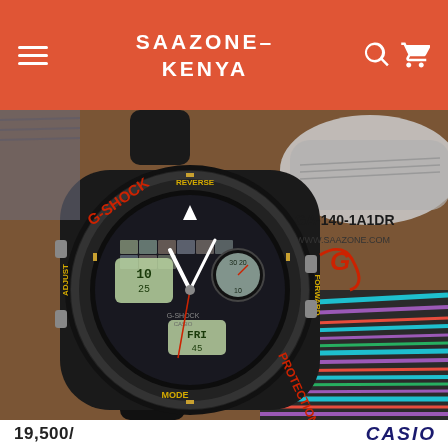SAAZONE-KENYA
[Figure (photo): Product photo of a Casio G-Shock GA-140-1A1DR black analog-digital wristwatch with red accents, G-Shock branding, PROTECTION text on bezel, MODE and ADJUST labels, REVERSE/FORWARD buttons. Watch placed on a brown surface with colorful striped fabric and grey/white sneaker in background. Overlay text: GA-140-1A1DR, WWW.SAAZONE.COM, Casio G-Shock logo/signature.]
19,500/